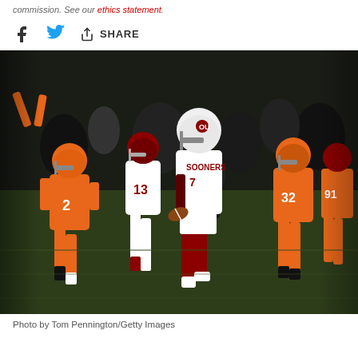commission. See our ethics statement.
[Figure (other): Share bar with Facebook, Twitter, and share icons]
[Figure (photo): Football game action photo showing an Oklahoma Sooners player wearing number 7 running with the ball while Oklahoma State Cowboys players in orange uniforms pursue. Players visible include #2 and #13 in orange, and #32 and #91 in orange on the right. Crowd visible in background.]
Photo by Tom Pennington/Getty Images